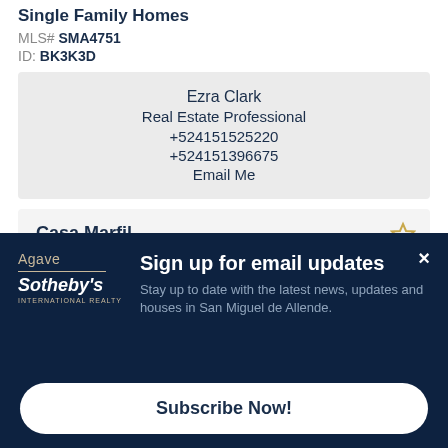Single Family Homes
MLS# SMA4751
ID: BK3K3D
Ezra Clark
Real Estate Professional
+524151525220
+524151396675
Email Me
Casa Marfil
Mineral de Valencia Guanajuato, Other Areas In M...
Sign up for email updates
Stay up to date with the latest news, updates and houses in San Miguel de Allende.
Subscribe Now!